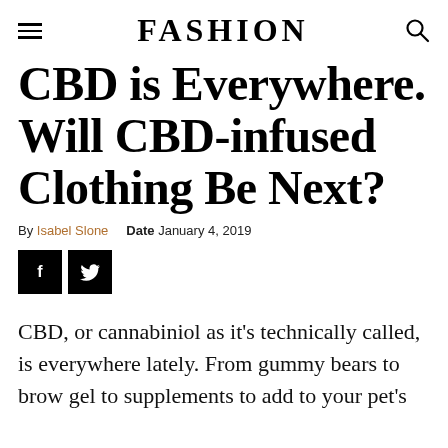FASHION
CBD is Everywhere. Will CBD-infused Clothing Be Next?
By Isabel Slone   Date January 4, 2019
[Figure (other): Social share buttons: Facebook (f) and Twitter bird icons, black square backgrounds]
CBD, or cannabiniol as it’s technically called, is everywhere lately. From gummy bears to brow gel to supplements to add to your pet’s